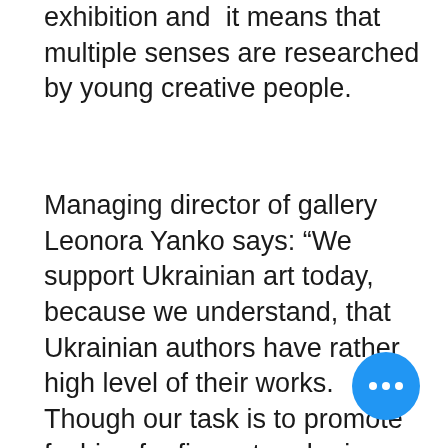exhibition and  it means that multiple senses are researched by young creative people.
Managing director of gallery Leonora Yanko says: “We support Ukrainian art today, because we understand, that Ukrainian authors have rather high level of their works.  Though our task is to promote fashion for fine art and raise our collectors. It is common in the world, that collectors and buyers of artworks not only give the opportunity to create for artists, but generate million dollars turnover in art market .” Lera Litvinova is talented Ukrainian artist, whose abstract paintings of landscapes are now a part of permanent exhibition of Ukrainian hall